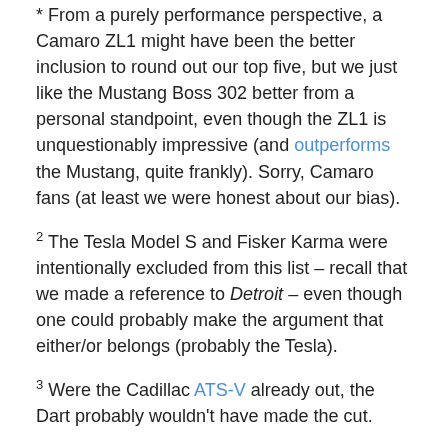* From a purely performance perspective, a Camaro ZL1 might have been the better inclusion to round out our top five, but we just like the Mustang Boss 302 better from a personal standpoint, even though the ZL1 is unquestionably impressive (and outperforms the Mustang, quite frankly). Sorry, Camaro fans (at least we were honest about our bias).
2 The Tesla Model S and Fisker Karma were intentionally excluded from this list – recall that we made a reference to Detroit – even though one could probably make the argument that either/or belongs (probably the Tesla).
3 Were the Cadillac ATS-V already out, the Dart probably wouldn't have made the cut.
Update (December 19, 2012): Can't believe we forgot the Pontiac G8 GXP. It has been a few years.